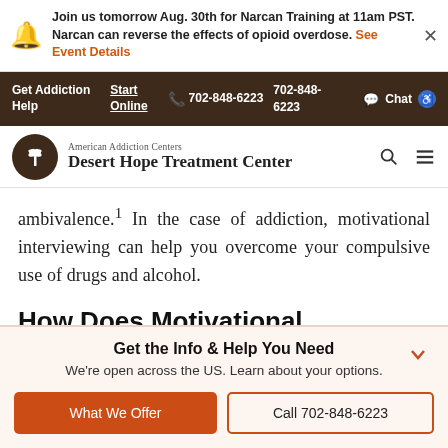Join us tomorrow Aug. 30th for Narcan Training at 11am PST. Narcan can reverse the effects of opioid overdose. See Event Details
Get Addiction Help | Start Online | 702-848-6223 | Chat
[Figure (logo): American Addiction Centers Desert Hope Treatment Center logo with palm tree icon in brown circle]
ambivalence.¹ In the case of addiction, motivational interviewing can help you overcome your compulsive use of drugs and alcohol.
How Does Motivational
Get the Info & Help You Need
We're open across the US. Learn about your options.
What We Offer | Call 702-848-6223